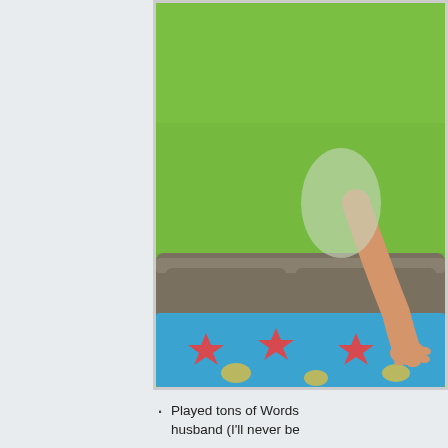[Figure (photo): Photo of a child on a couch against a bright green wall background, reaching toward colorful bedding/blanket with stars and cartoon characters. The image is cropped and shows the right portion of the scene.]
Played tons of Words... husband (I'll never be...